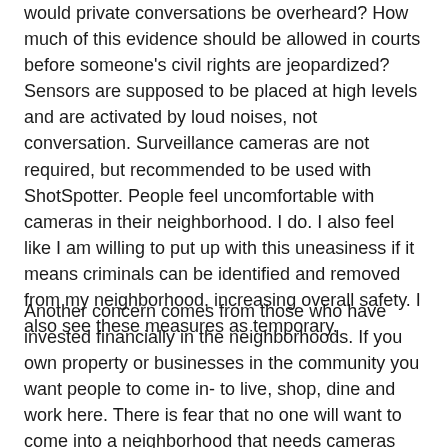would private conversations be overheard? How much of this evidence should be allowed in courts before someone's civil rights are jeopardized? Sensors are supposed to be placed at high levels and are activated by loud noises, not conversation. Surveillance cameras are not required, but recommended to be used with ShotSpotter. People feel uncomfortable with cameras in their neighborhood. I do. I also feel like I am willing to put up with this uneasiness if it means criminals can be identified and removed from my neighborhood, increasing overall safety. I also see these measures as temporary.
Another concern comes from those who have invested financially in the neighborhoods. If you own property or businesses in the community you want people to come in- to live, shop, dine and work here. There is fear that no one will want to come into a neighborhood that needs cameras and sensors. I would argue that the crime itself would dissuade people from moving into a neighborhood. If people feel safe, they will come and live, shop and work. Bad reputations are